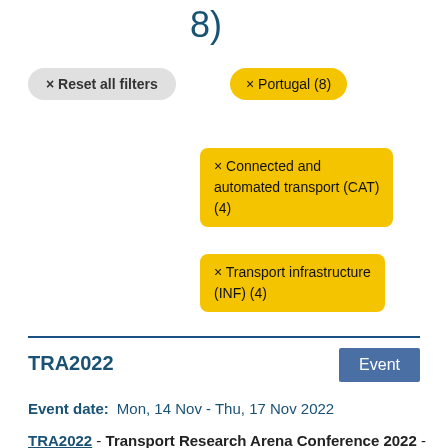8)
× Reset all filters
× Portugal (8)
× Connected and automated transport (CAT) (4)
× Transport infrastructure (INF) (4)
TRA2022
Event
Event date:   Mon, 14 Nov - Thu, 17 Nov 2022
TRA2022 - Transport Research Arena Conference 2022 - is the largest European research and technology conference on transport and mobility. It is organised and hosted by the National Innovation Agency (ANI), Institute for